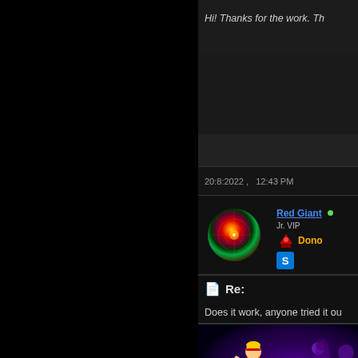Hi! Thanks for the work. Th
20:8:2022 ,   12:43 PM
Red Giant
Jr. VIP
Donor
Re:
Does it work, anyone tried it ou
[Figure (photo): Circular avatar with colorful fractal/mandala pattern in red, orange, green, yellow tones on dark background]
[Figure (photo): Gaming screenshot showing a Street Fighter-style character (red outfit, blonde hair) in fighting pose against purple background with other fighters]